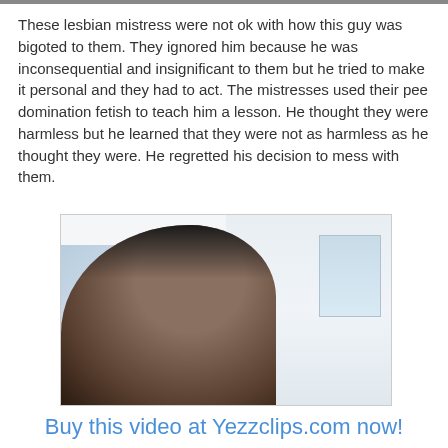These lesbian mistress were not ok with how this guy was bigoted to them. They ignored him because he was inconsequential and insignificant to them but he tried to make it personal and they had to act. The mistresses used their pee domination fetish to teach him a lesson. He thought they were harmless but he learned that they were not as harmless as he thought they were. He regretted his decision to mess with them.
[Figure (photo): A close-up photograph showing two people in a room with white walls and a window visible in the background.]
Buy this video at Yezzclips.com now!